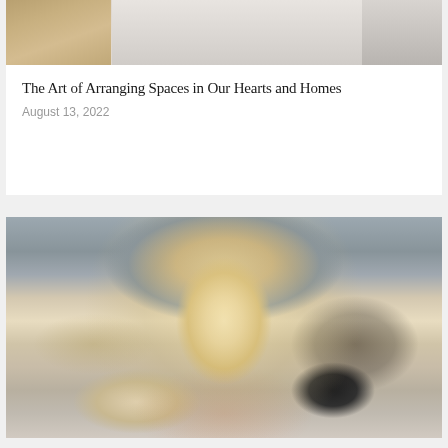[Figure (photo): Top portion of an article card showing a partial indoor photo with beige/gray tones]
The Art of Arranging Spaces in Our Hearts and Homes
August 13, 2022
[Figure (photo): Photo of a young blond boy with eyes closed, pressing his index fingers into both ears, wearing a black and white shirt with red collar, making a funny face]